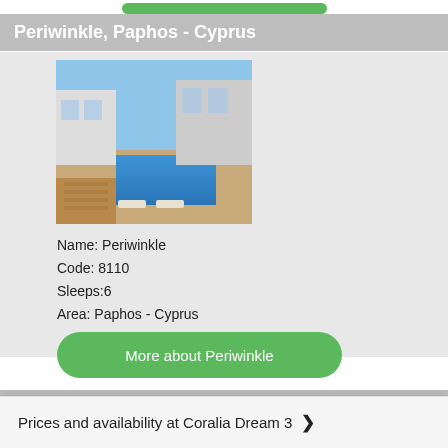Periwinkle, Paphos - Cyprus
[Figure (photo): Exterior photo of Periwinkle villa with pool and sun loungers in Paphos, Cyprus]
Name: Periwinkle
Code: 8110
Sleeps:6
Area: Paphos - Cyprus
More about Periwinkle
Cerulean, Paphos - Cyprus
[Figure (photo): Exterior photo of Cerulean villa with pool in Paphos, Cyprus]
Name: Cerulean
Prices and availability at Coralia Dream 3 ❯